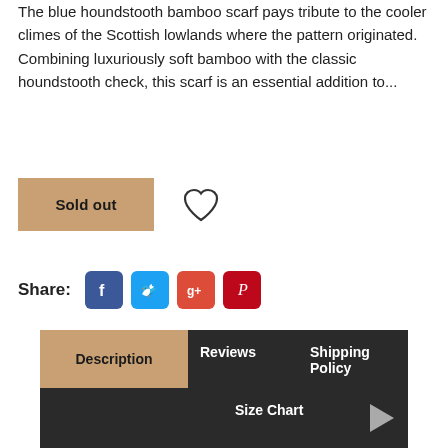The blue houndstooth bamboo scarf pays tribute to the cooler climes of the Scottish lowlands where the pattern originated. Combining luxuriously soft bamboo with the classic houndstooth check, this scarf is an essential addition to...
[Figure (other): Sold out button (tan/khaki background) with heart/wishlist icon to the right]
Share:
[Figure (other): Social media sharing icons: Facebook (blue), Twitter (light blue), Google+ (red), Pinterest (dark red)]
Description | Reviews | Shipping Policy | Size Chart — tab navigation bar with tan Description tab selected and dark background for others